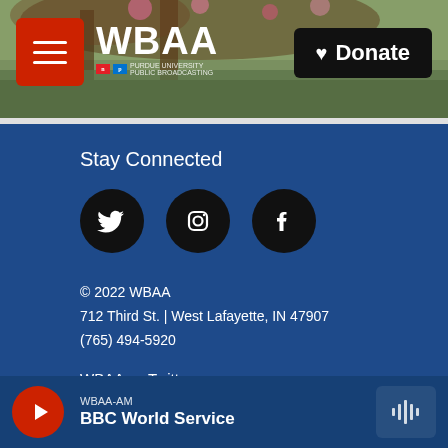[Figure (screenshot): WBAA website header with nature/tree background photo, red hamburger menu button, WBAA logo with NPR and PBS badges, and black Donate button with heart icon]
Stay Connected
[Figure (infographic): Three social media icons in black circles: Twitter (bird), Instagram (camera), Facebook (f)]
© 2022 WBAA
712 Third St. | West Lafayette, IN 47907
(765) 494-5920
WBAA on Twitter
WBAA on Facebook
Contact Us
WBAA-AM BBC World Service